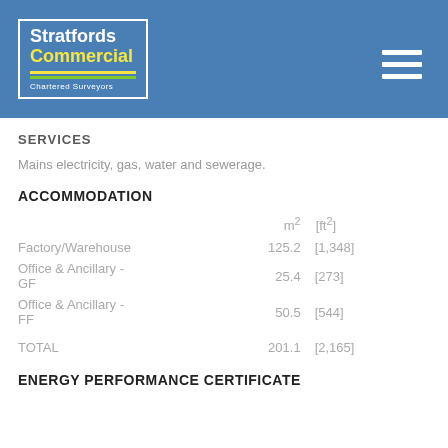[Figure (logo): Stratfords Commercial Chartered Surveyors logo in a white-bordered box on blue header background]
SERVICES
Mains electricity, gas, water and sewerage.
ACCOMMODATION
|  | m² | [ft²] |
| --- | --- | --- |
| Factory/Warehouse | 125.2 | [1,348] |
| Office & Ancillary - GF | 25.4 | [273] |
| Office & Ancillary - FF | 50.5 | [544] |
| TOTAL | 201.1 | [2,165] |
ENERGY PERFORMANCE CERTIFICATE